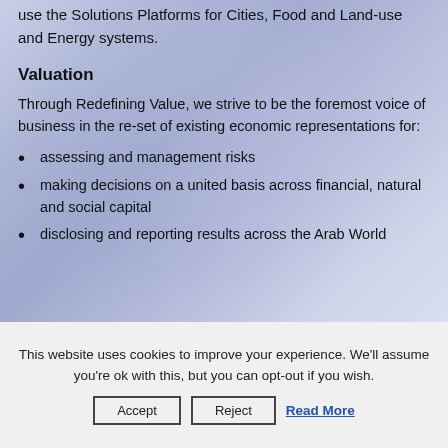use the Solutions Platforms for Cities, Food and Land-use and Energy systems.
Valuation
Through Redefining Value, we strive to be the foremost voice of business in the re-set of existing economic representations for:
assessing and management risks
making decisions on a united basis across financial, natural and social capital
disclosing and reporting results across the Arab World
This website uses cookies to improve your experience. We'll assume you're ok with this, but you can opt-out if you wish.
Accept  Reject  Read More